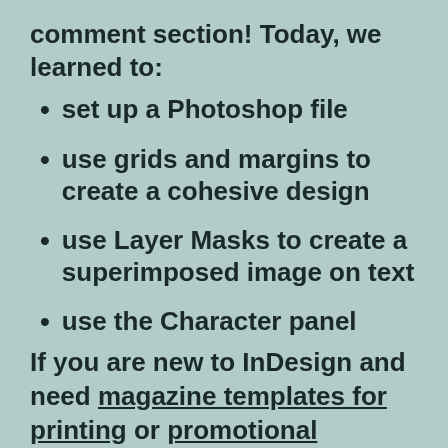comment section! Today, we learned to:
set up a Photoshop file
use grids and margins to create a cohesive design
use Layer Masks to create a superimposed image on text
use the Character panel
If you are new to InDesign and need magazine templates for printing or promotional marketing templates right away, head over to Envato Elements and